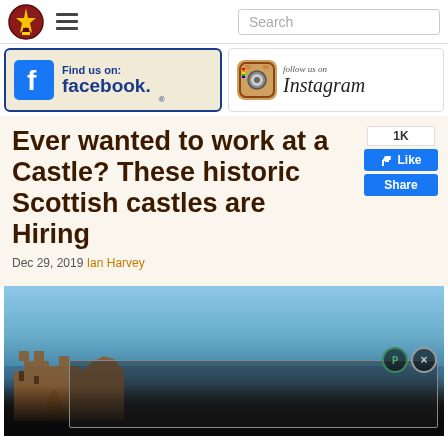[Figure (screenshot): Website navigation bar with shield logo, hamburger menu icon, and search box]
[Figure (logo): Facebook 'Find us on: facebook.' banner with blue border on cream background]
[Figure (logo): Instagram 'follow us on Instagram' banner with camera icon]
Ever wanted to work at a Castle? These historic Scottish castles are Hiring
Dec 29, 2019 Ian Harvey
[Figure (photo): Photo of a Scottish castle ruin on a rocky outcrop with blue sea/sky background, with an ad overlay at the bottom]